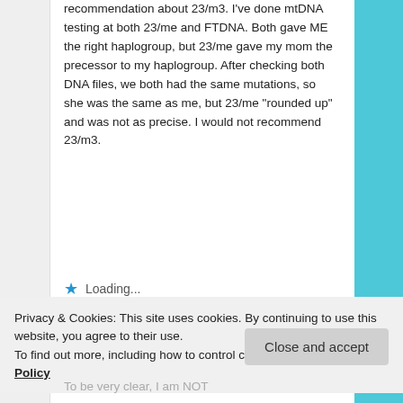recommendation about 23/m3. I've done mtDNA testing at both 23/me and FTDNA. Both gave ME the right haplogroup, but 23/me gave my mom the precessor to my haplogroup. After checking both DNA files, we both had the same mutations, so she was the same as me, but 23/me “rounded up” and was not as precise. I would not recommend 23/m3.
Loading...
Reply ↓
Privacy & Cookies: This site uses cookies. By continuing to use this website, you agree to their use.
To find out more, including how to control cookies, see here: Cookie Policy
Close and accept
To be very clear, I am NOT